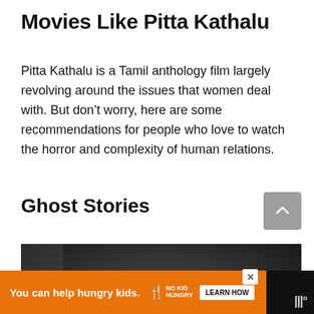Movies Like Pitta Kathalu
Pitta Kathalu is a Tamil anthology film largely revolving around the issues that women deal with. But don’t worry, here are some recommendations for people who love to watch the horror and complexity of human relations.
Ghost Stories
[Figure (photo): Black and white photo of a woman lying in bed looking distressed or scared, viewed from the side.]
You can help hungry kids. NO KID HUNGRY LEARN HOW